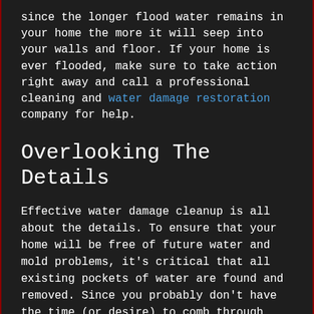since the longer flood water remains in your home the more it will seep into your walls and floor. If your home is ever flooded, make sure to take action right away and call a professional cleaning and water damage restoration company for help.
Overlooking The Details
Effective water damage cleanup is all about the details. To ensure that your home will be free of future water and mold problems, it's critical that all existing pockets of water are found and removed. Since you probably don't have the time (or desire) to comb through every inch of your home looking for pockets of water, this is an issue best tackled by the water damage restoration pros.
Not Calling the Pros
With the rising popularity of DIY methods, it is